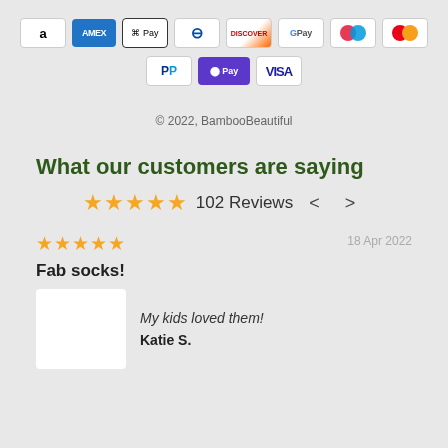[Figure (infographic): Payment method icons row 1: Amazon, Amex, Apple Pay, Diners Club, Discover, Google Pay, Maestro, Mastercard]
[Figure (infographic): Payment method icons row 2: PayPal, Shop Pay, Visa]
© 2022, BambooBeautiful
What our customers are saying
★★★★★ 102 Reviews < >
★★★★★   18 Apr 2022
Fab socks!
My kids loved them!
Katie S.